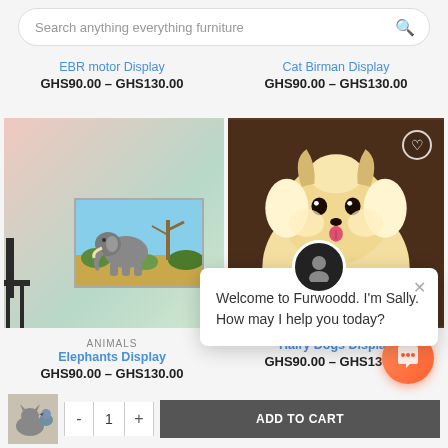[Figure (screenshot): Search bar with placeholder text 'Search anything everything furniture' and a search icon]
EBR motor Display
GHS90.00 – GHS130.00
Cat Birman Display
GHS90.00 – GHS130.00
[Figure (photo): Wall art display showing an elephant framed picture mounted on a pastel gradient wall with a chair on the left]
[Figure (photo): Fluffy white Pomeranian dog smiling with tongue out on a dark brown background, with a heart/wishlist icon overlay]
ANIMALS
Elephants Display
GHS90.00 – GHS130.00
Hairy Dogs Display
GHS90.00 – GHS130.00
Welcome to Furwoodd. I'm Sally. How may I help you today?
[Figure (screenshot): Add to cart bar with product thumbnail (cat and parrot), quantity selector showing 1, and ADD TO CART button]
[Figure (other): Orange circular chat support button at bottom right]